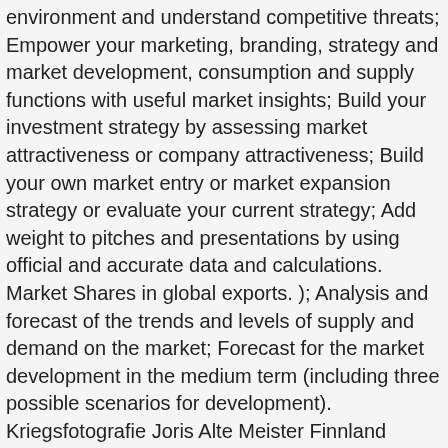environment and understand competitive threats; Empower your marketing, branding, strategy and market development, consumption and supply functions with useful market insights; Build your investment strategy by assessing market attractiveness or company attractiveness; Build your own market entry or market expansion strategy or evaluate your current strategy; Add weight to pitches and presentations by using official and accurate data and calculations. Market Shares in global exports. ); Analysis and forecast of the trends and levels of supply and demand on the market; Forecast for the market development in the medium term (including three possible scenarios for development). Kriegsfotografie Joris Alte Meister Finnland Erster Weltkrieg Fotografen Nostalgie Geschichte Deutschland. Er lebt in der Zentralschweiz - in Luzern. She was the companion and professional partner of photographer Robert Capa. 37TV75. Die Aussagekraft des Tests ist sehr entscheidend. Gerda Taro war seine Lebensgefährtin und ebenfalls Kriegsfotografin. You can